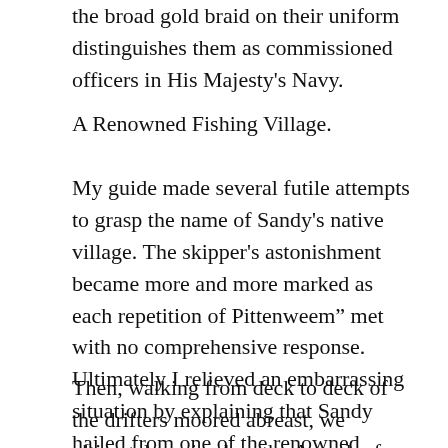the broad gold braid on their uniform distinguishes them as commissioned officers in His Majesty's Navy.
A Renowned Fishing Village.
My guide made several futile attempts to grasp the name of Sandy's native village. The skipper's astonishment became more and more marked as each repetition of Pittenweem" met with no comprehensive response. Ultimately I relieved an embarrassing situation by explaining that Sandy hailed from one of the renowned fishing villages in the Kingdom of Fife, and expressing the wish that he would show us over his lugger. With true Scottish caution the skipper first satisfied himself as to my credentials.
Then, walking from deck to deck of the drifters moored abreast, we ultimately arrived on the Azrael, of Pittenweem, a spick and span little craft with the White